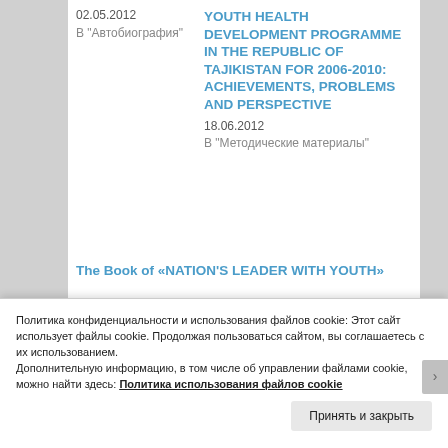02.05.2012
В "Автобиография"
YOUTH HEALTH DEVELOPMENT PROGRAMME IN THE REPUBLIC OF TAJIKISTAN FOR 2006-2010: ACHIEVEMENTS, PROBLEMS AND PERSPECTIVE
18.06.2012
В "Методические материалы"
The Book of «NATION'S LEADER WITH YOUTH»
Политика конфиденциальности и использования файлов cookie: Этот сайт использует файлы cookie. Продолжая пользоваться сайтом, вы соглашаетесь с их использованием.
Дополнительную информацию, в том числе об управлении файлами cookie, можно найти здесь: Политика использования файлов cookie
Принять и закрыть